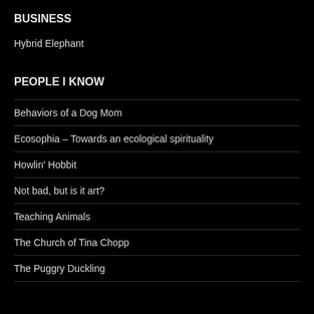BUSINESS
Hybrid Elephant
PEOPLE I KNOW
Behaviors of a Dog Mom
Ecosophia – Towards an ecological spirituality
Howlin' Hobbit
Not bad, but is it art?
Teaching Animals
The Church of Tina Chopp
The Puggry Duckling